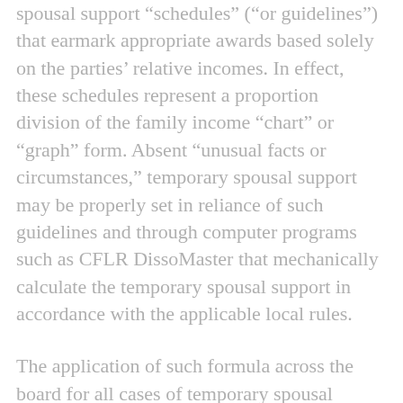spousal support “schedules” (“or guidelines”) that earmark appropriate awards based solely on the parties’ relative incomes. In effect, these schedules represent a proportion division of the family income “chart” or “graph” form. Absent “unusual facts or circumstances,” temporary spousal support may be properly set in reliance of such guidelines and through computer programs such as CFLR DissoMaster that mechanically calculate the temporary spousal support in accordance with the applicable local rules.
The application of such formula across the board for all cases of temporary spousal support is appropriate as a means of maintaining the financial status quo of the parties pending trial.